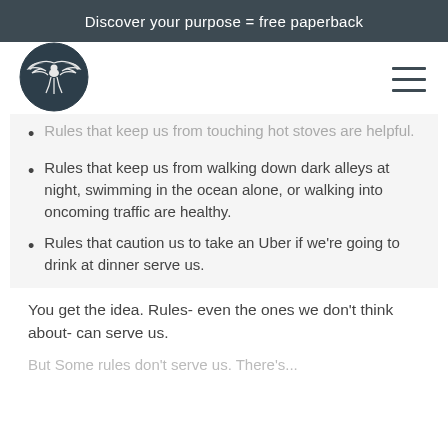Discover your purpose = free paperback
[Figure (logo): Circular dark navy logo with a winged bird/phoenix figure in white]
Rules that keep us from touching hot stoves are helpful.
Rules that keep us from walking down dark alleys at night, swimming in the ocean alone, or walking into oncoming traffic are healthy.
Rules that caution us to take an Uber if we're going to drink at dinner serve us.
You get the idea. Rules- even the ones we don't think about- can serve us.
But Some rules don't serve us. There's...